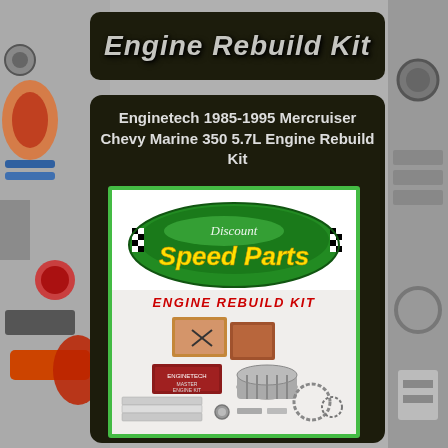Engine Rebuild Kit
Enginetech 1985-1995 Mercruiser Chevy Marine 350 5.7L Engine Rebuild Kit
[Figure (logo): Discount Speed Parts oval logo with yellow text on green background]
[Figure (photo): Engine rebuild kit product photo showing various engine parts including gaskets, bearings, pistons, and other components with ENGINE REBUILD KIT label in red]